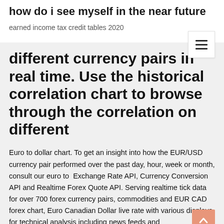how do i see myself in the near future
earned income tax credit tables 2020
different currency pairs in real time. Use the historical correlation chart to browse through the correlation on different
Euro to dollar chart. To get an insight into how the EUR/USD currency pair performed over the past day, hour, week or month, consult our euro to  Exchange Rate API, Currency Conversion API and Realtime Forex Quote API. Serving realtime tick data for over 700 forex currency pairs, commodities and EUR CAD forex chart, Euro Canadian Dollar live rate with various displays for technical analysis including news feeds and